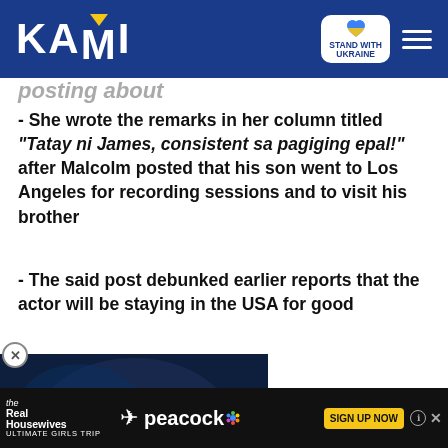KAMI — Stand with Ukraine
posting about
- She wrote the remarks in her column titled "Tatay ni James, consistent sa pagiging epal!" after Malcolm posted that his son went to Los Angeles for recording sessions and to visit his brother
- The said post debunked earlier reports that the actor will be staying in the USA for good
[Figure (screenshot): Video player showing a superhero (Superman) character with glowing red eyes, with a WatchMojo play button overlay and a red minimize button]
[Figure (screenshot): Advertisement banner for The Real Housewives Ultimate Girls Trip on Peacock with Sign Up Now button]